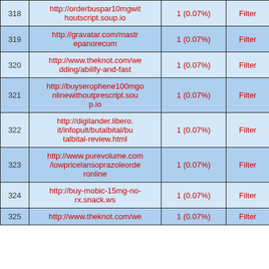| # | URL | Count | Action |
| --- | --- | --- | --- |
| 318 | http://orderbuspar10mgwithoutscript.soup.io | 1 (0.07%) | Filter |
| 319 | http://gravatar.com/mastrepanorecum | 1 (0.07%) | Filter |
| 320 | http://www.theknot.com/wedding/abilify-and-fast | 1 (0.07%) | Filter |
| 321 | http://buyserophene100mgonlinewithoutprescript.soup.io | 1 (0.07%) | Filter |
| 322 | http://digilander.libero.it/infopult/butalbital/butalbital-review.html | 1 (0.07%) | Filter |
| 323 | http://www.purevolume.com/lowpricelansoprazoleorderonline | 1 (0.07%) | Filter |
| 324 | http://buy-mobic-15mg-no-rx.snack.ws | 1 (0.07%) | Filter |
| 325 | http://www.theknot.com/we | 1 (0.07%) | Filter |